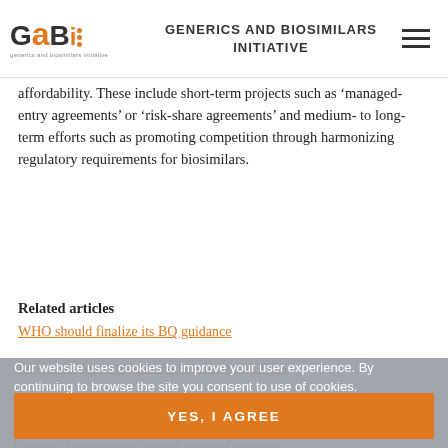GENERICS AND BIOSIMILARS INITIATIVE
affordability. These include short-term projects such as ‘managed-entry agreements’ or ‘risk-share agreements’ and medium- to long-term efforts such as promoting competition through harmonizing regulatory requirements for biosimilars.
Related articles
WHO should finalize its BQ guidance
WHO asks for comments on new biosimilar Q&A
Our website uses cookies to improve your user experience. By continuing to browse the site you consent to use of cookies.
Permission granted to reproduce for personal and non-commercial use only. All other reproduction, copy or reprinting of all or part of any ‘content’ found on this website is strictly prohibited without the prior consent of the publisher. Contact
YES, I AGREE
Copyright – Unless otherwise stated all contents of this website